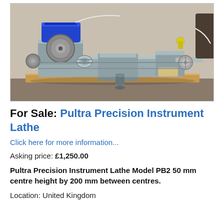[Figure (photo): Photograph of a Pultra Precision Instrument Lathe Model PB2, grey metal lathe with blue motor on top, mounted on a wooden board, shown in a workshop setting.]
For Sale: Pultra Precision Instrument Lathe
Click here for more information...
Asking price: £1,250.00
Pultra Precision Instrument Lathe Model PB2 50 mm centre height by 200 mm between centres.
Location: United Kingdom